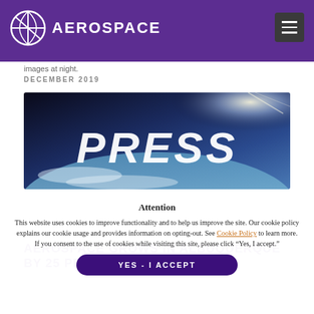AEROSPACE
images at night.
DECEMBER 2019
[Figure (photo): Space/Earth view banner with large white PRESS text overlay]
Attention
This website uses cookies to improve functionality and to help us improve the site. Our cookie policy explains our cookie usage and provides information on opting-out. See Cookie Policy to learn more. If you consent to the use of cookies while visiting this site, please click “Yes, I accept.”
YES - I ACCEPT
AEROSPACE GROWS IN ALBUQUERQUE BY 25 PERCENT